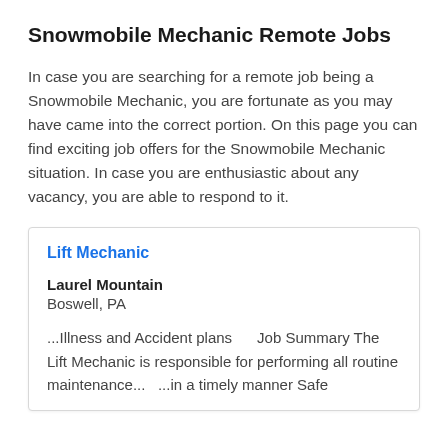Snowmobile Mechanic Remote Jobs
In case you are searching for a remote job being a Snowmobile Mechanic, you are fortunate as you may have came into the correct portion. On this page you can find exciting job offers for the Snowmobile Mechanic situation. In case you are enthusiastic about any vacancy, you are able to respond to it.
Lift Mechanic
Laurel Mountain
Boswell, PA
...Illness and Accident plans      Job Summary The Lift Mechanic is responsible for performing all routine maintenance...  ...in a timely manner Safe